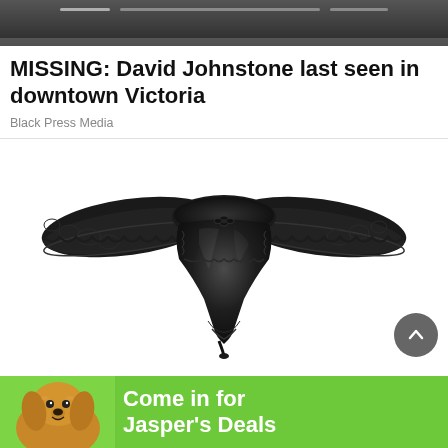[Figure (screenshot): Dark banner image at top, appears to be a news website header with navigation dots]
MISSING: David Johnstone last seen in downtown Victoria
Black Press Media
[Figure (photo): Black lace thong/underwear product photo on white background]
[Figure (photo): Advertisement banner showing a golden retriever dog with text 'Come in for Jasper's Deals' on green background]